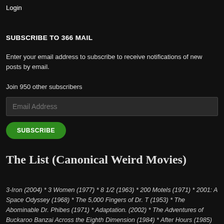Login
SUBSCRIBE TO 366 MAIL
Enter your email address to subscribe to receive notifications of new posts by email.
Join 950 other subscribers
Email Address
SUBSCRIBE
The List (Canonical Weird Movies)
3-Iron (2004) * 3 Women (1977) * 8 1/2 (1963) * 200 Motels (1971) * 2001: A Space Odyssey (1968) * The 5,000 Fingers of Dr. T (1953) * The Abominable Dr. Phibes (1971) * Adaptation. (2002) * The Adventures of Buckaroo Banzai Across the Eighth Dimension (1984) * After Hours (1985)